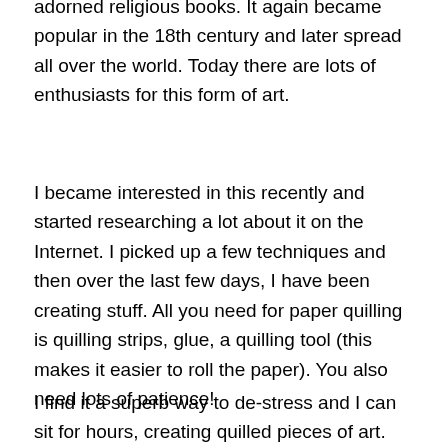adorned religious books. It again became popular in the 18th century and later spread all over the world. Today there are lots of enthusiasts for this form of art.
I became interested in this recently and started researching a lot about it on the Internet. I picked up a few techniques and then over the last few days, I have been creating stuff. All you need for paper quilling is quilling strips, glue, a quilling tool (this makes it easier to roll the paper). You also need lots of patience!
I find it a superb way to de-stress and I can sit for hours, creating quilled pieces of art. Here